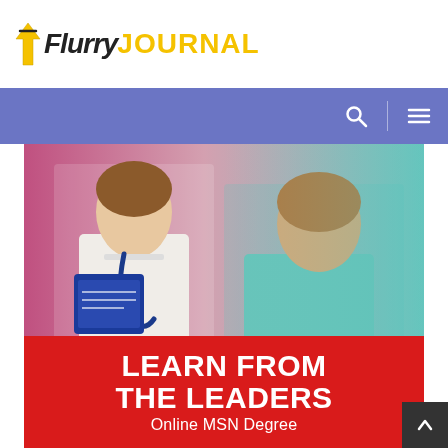[Figure (logo): Flurry Journal logo with yellow pen/arrow icon, 'Flurry' in bold italic black and 'JOURNAL' in bold yellow]
[Figure (photo): Two healthcare professionals (nurses/doctors) in white coats, one holding a blue clipboard and stethoscope, consulting each other against a pink and teal background]
LEARN FROM THE LEADERS
Online MSN Degree